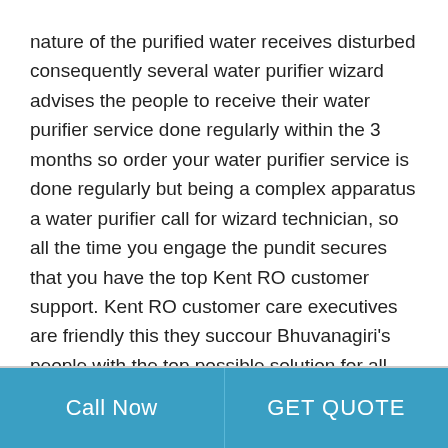nature of the purified water receives disturbed consequently several water purifier wizard advises the people to receive their water purifier service done regularly within the 3 months so order your water purifier service is done regularly but being a complex apparatus a water purifier call for wizard technician, so all the time you engage the pundit secures that you have the top Kent RO customer support. Kent RO customer care executives are friendly this they succour Bhuvanagiri's people with the top possible solution for all the queries regarding a water purifier, and they also secure at you will receive the top customer support at the Kent RO customer care store in Bhuvanagiri.
Call Now | GET QUOTE